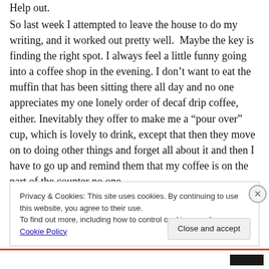Help out.
So last week I attempted to leave the house to do my writing, and it worked out pretty well.  Maybe the key is finding the right spot. I always feel a little funny going into a coffee shop in the evening. I don’t want to eat the muffin that has been sitting there all day and no one appreciates my one lonely order of decaf drip coffee, either. Inevitably they offer to make me a “pour over” cup, which is lovely to drink, except that then they move on to doing other things and forget all about it and then I have to go up and remind them that my coffee is on the part of the counter no one
Privacy & Cookies: This site uses cookies. By continuing to use this website, you agree to their use.
To find out more, including how to control cookies, see here: Cookie Policy
Close and accept